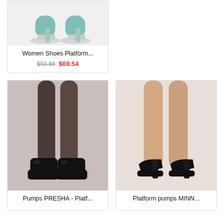[Figure (photo): Women's platform shoes in teal/mint color on white background, partial top view]
Women Shoes Platform...
$93.88  $69.54
[Figure (photo): Black platform loafer pumps labeled PRESHA, worn on legs with dark stockings]
Pumps PRESHA - Platf...
[Figure (photo): Black suede platform pumps labeled MINN, worn on bare legs]
Platform pumps MINN...